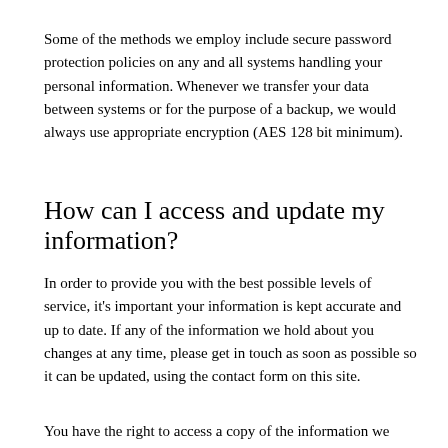Some of the methods we employ include secure password protection policies on any and all systems handling your personal information. Whenever we transfer your data between systems or for the purpose of a backup, we would always use appropriate encryption (AES 128 bit minimum).
How can I access and update my information?
In order to provide you with the best possible levels of service, it's important your information is kept accurate and up to date. If any of the information we hold about you changes at any time, please get in touch as soon as possible so it can be updated, using the contact form on this site.
You have the right to access a copy of the information we hold about you for